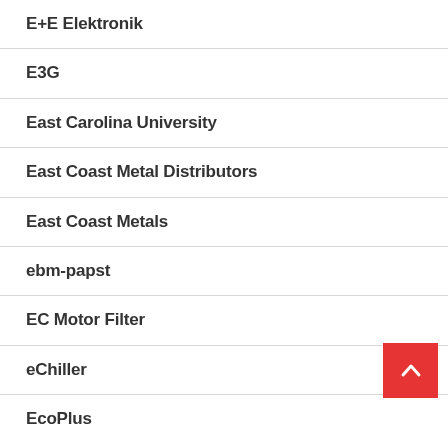E+E Elektronik
E3G
East Carolina University
East Coast Metal Distributors
East Coast Metals
ebm-papst
EC Motor Filter
eChiller
EcoPlus